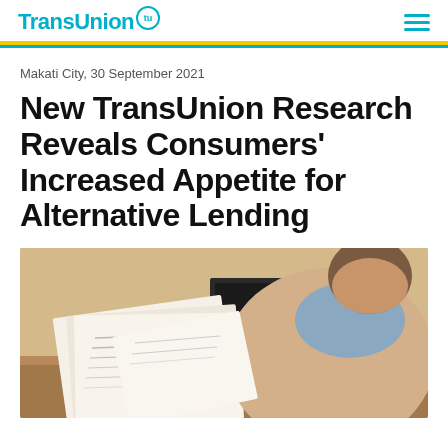TransUnion
Makati City, 30 September 2021
New TransUnion Research Reveals Consumers' Increased Appetite for Alternative Lending
[Figure (photo): Person sitting at a wooden desk, reviewing printed financial documents with a laptop open in the background, wearing a beige cardigan and blue scarf.]